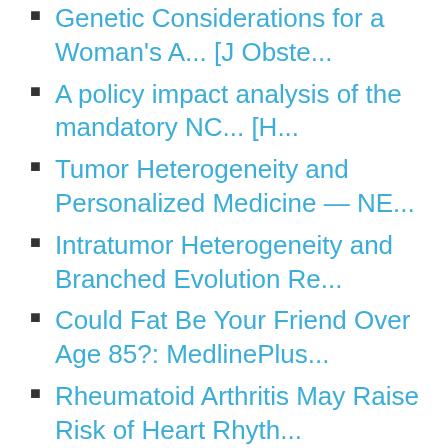Genetic Considerations for a Woman's A... [J Obste...
A policy impact analysis of the mandatory NC... [H...
Tumor Heterogeneity and Personalized Medicine — NE...
Intratumor Heterogeneity and Branched Evolution Re...
Could Fat Be Your Friend Over Age 85?: MedlinePlus...
Rheumatoid Arthritis May Raise Risk of Heart Rhyth...
Heart screens for kids not ready for prime time: M...
Exercise may not make older people fall less...